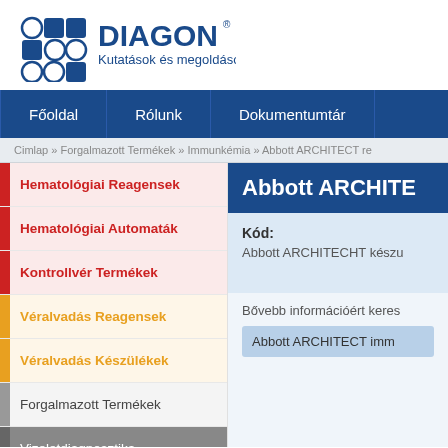[Figure (logo): DIAGON logo with blue hexagon grid icon and text 'DIAGON Kutatások és megoldások']
Főoldal   Rólunk   Dokumentumtár
Cimlap » Forgalmazott Termékek » Immunkémia » Abbott ARCHITECT re
Hematológiai Reagensek
Hematológiai Automaták
Kontrollvér Termékek
Véralvadás Reagensek
Véralvadás Készülékek
Forgalmazott Termékek
Vizeletdiagnosztika
Abbott ARCHITE
Kód:
Abbott ARCHITECHT készu
Bővebb információért keres
Abbott ARCHITECT imm